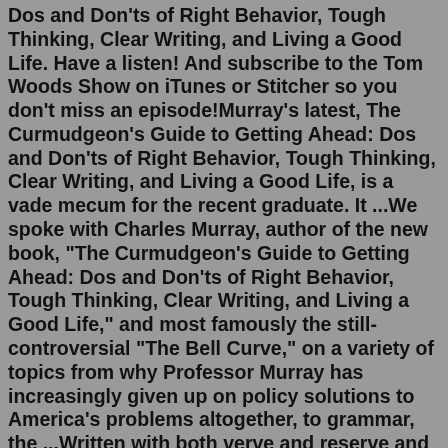Dos and Don'ts of Right Behavior, Tough Thinking, Clear Writing, and Living a Good Life. Have a listen! And subscribe to the Tom Woods Show on iTunes or Stitcher so you don't miss an episode!Murray's latest, The Curmudgeon's Guide to Getting Ahead: Dos and Don'ts of Right Behavior, Tough Thinking, Clear Writing, and Living a Good Life, is a vade mecum for the recent graduate. It ...We spoke with Charles Murray, author of the new book, "The Curmudgeon's Guide to Getting Ahead: Dos and Don'ts of Right Behavior, Tough Thinking, Clear Writing, and Living a Good Life," and most famously the still-controversial "The Bell Curve," on a variety of topics from why Professor Murray has increasingly given up on policy solutions to America's problems altogether, to grammar, the ...Written with both verve and reserve and drawing on the corevalues that have historically made good manners the best lubricant to socialand professional advancement, The Curmudgeon's Guide to Getting Ahead is an